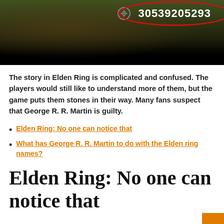[Figure (screenshot): Screenshot from Elden Ring game showing a dark landscape background with a HUD element displaying the number 30539205293 circled in red]
The story in Elden Ring is complicated and confused. The players would still like to understand more of them, but the game puts them stones in their way. Many fans suspect that George R. R. Martin is guilty.
Elden Ring: No one can notice that
What has George R. R. Martin to do with the Elden ring names?
Elden Ring: No one can notice that